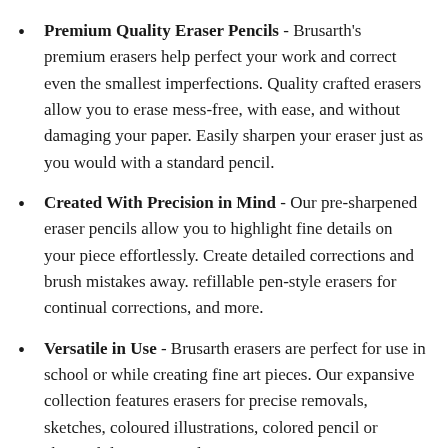Premium Quality Eraser Pencils - Brusarth's premium erasers help perfect your work and correct even the smallest imperfections. Quality crafted erasers allow you to erase mess-free, with ease, and without damaging your paper. Easily sharpen your eraser just as you would with a standard pencil.
Created With Precision in Mind - Our pre-sharpened eraser pencils allow you to highlight fine details on your piece effortlessly. Create detailed corrections and brush mistakes away. refillable pen-style erasers for continual corrections, and more.
Versatile in Use - Brusarth erasers are perfect for use in school or while creating fine art pieces. Our expansive collection features erasers for precise removals, sketches, coloured illustrations, colored pencil or charcoal drawings, and more!